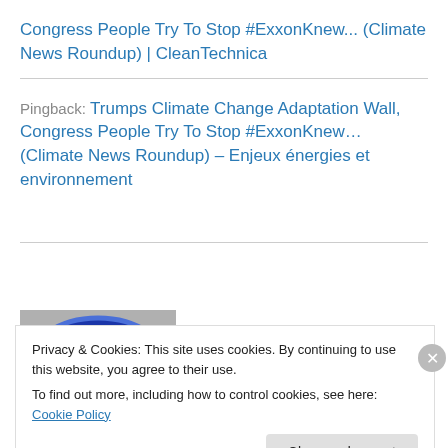Congress People Try To Stop #ExxonKnew... (Climate News Roundup) | CleanTechnica
Pingback: Trumps Climate Change Adaptation Wall, Congress People Try To Stop #ExxonKnew… (Climate News Roundup) – Enjeux énergies et environnement
[Figure (photo): A blue circular badge/button with text 'Friend of the Planet' on it]
Privacy & Cookies: This site uses cookies. By continuing to use this website, you agree to their use.
To find out more, including how to control cookies, see here: Cookie Policy
Close and accept